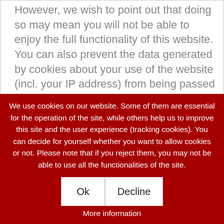However, we wish to point out that doing so may mean you will not be able to enjoy the full functionality of this website. You can also prevent the data generated by cookies about your use of the website (incl. your IP address) from being passed to Google, and the processing of these data by Google, by downloading and installing the
We use cookies on our website. Some of them are essential for the operation of the site, while others help us to improve this site and the user experience (tracking cookies). You can decide for yourself whether you want to allow cookies or not. Please note that if you reject them, you may not be able to use all the functionalities of the site.
Ok
Decline
More information